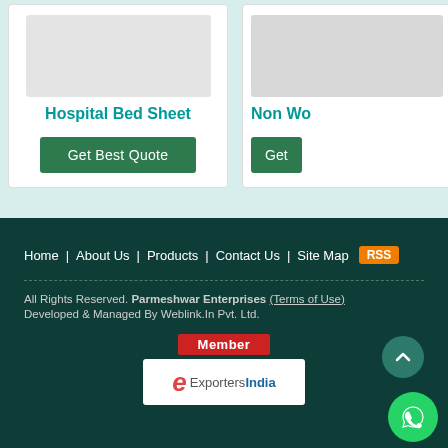Hospital Bed Sheet
Get Best Quote
Non Wo...
Get...
Home | About Us | Products | Contact Us | Site Map RSS
All Rights Reserved. Parmeshwar Enterprises (Terms of Use) Developed & Managed By Weblink.In Pvt. Ltd.
[Figure (logo): Member ExportersIndia logo badge]
[Figure (other): WhatsApp contact button (green circle with phone icon)]